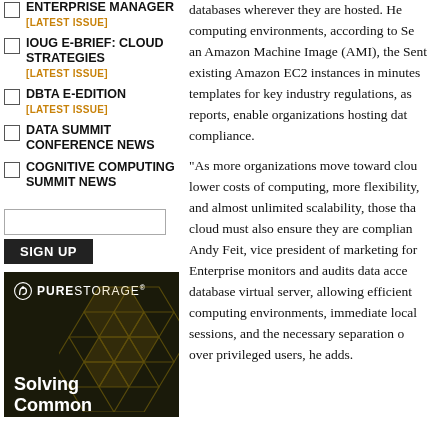ENTERPRISE MANAGER [LATEST ISSUE]
IOUG E-BRIEF: CLOUD STRATEGIES [LATEST ISSUE]
DBTA E-EDITION [LATEST ISSUE]
DATA SUMMIT CONFERENCE NEWS
COGNITIVE COMPUTING SUMMIT NEWS
SIGN UP
[Figure (other): Pure Storage advertisement showing logo and 'Solving Common' text on dark background with hexagon pattern]
databases wherever they are hosted. He computing environments, according to Se an Amazon Machine Image (AMI), the Sent existing Amazon EC2 instances in minutes templates for key industry regulations, as reports, enable organizations hosting dat compliance.

"As more organizations move toward clou lower costs of computing, more flexibility, and almost unlimited scalability, those tha cloud must also ensure they are complian Andy Feit, vice president of marketing for Enterprise monitors and audits data acce database virtual server, allowing efficient computing environments, immediate local sessions, and the necessary separation o over privileged users, he adds.